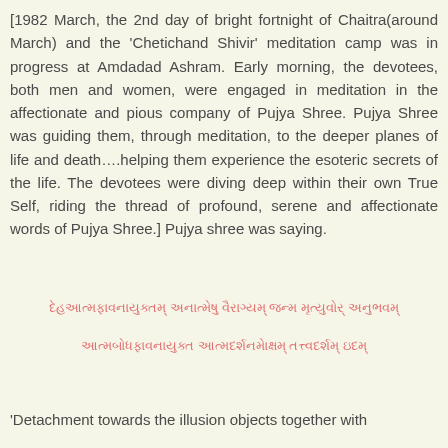[1982 March, the 2nd day of bright fortnight of Chaitra(around March) and the 'Chetichand Shivir' meditation camp was in progress at Amdadad Ashram. Early morning, the devotees, both men and women, were engaged in meditation in the affectionate and pious company of Pujya Shree. Pujya Shree was guiding them, through meditation, to the deeper planes of life and death….helping them experience the esoteric secrets of the life. The devotees were diving deep within their own True Self, riding the thread of profound, serene and affectionate words of Pujya Shree.] Pujya shree was saying.
Sanskrit verse line 1
Sanskrit verse line 2
'Detachment towards the illusion objects together with